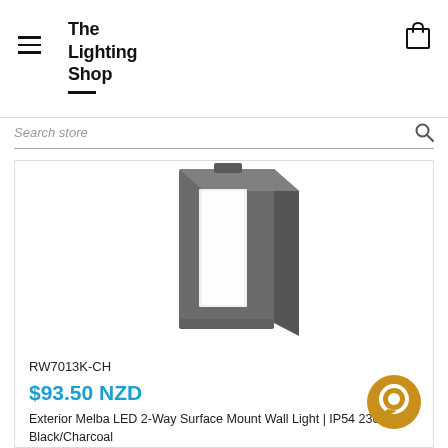The Lighting Shop
Search store
[Figure (photo): Charcoal/dark grey exterior LED wall light (RW7013K-CH) - rectangular block shape with frosted white panel on front face, shown against white background]
RW7013K-CH
$93.50 NZD
Exterior Melba LED 2-Way Surface Mount Wall Light | IP54 230V - Black/Charcoal